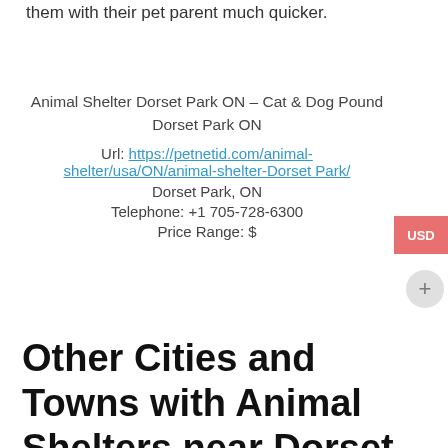them with their pet parent much quicker.
Animal Shelter Dorset Park ON – Cat & Dog Pound Dorset Park ON
Url: https://petnetid.com/animal-shelter/usa/ON/animal-shelter-Dorset Park/
Dorset Park, ON
Telephone: +1 705-728-6300
Price Range: $
Other Cities and Towns with Animal Shelters near Dorset Park ON